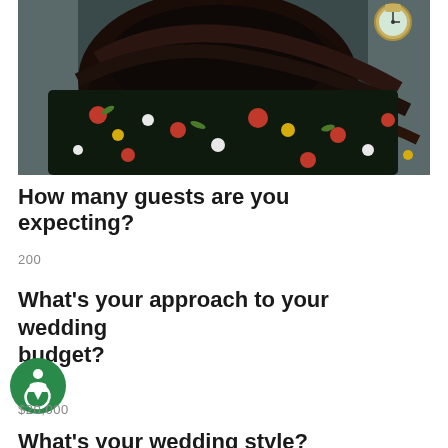[Figure (photo): A person with long dark hair wearing a black floral dress with red, white, and yellow flowers, viewed from behind. A gold watch is visible on the wrist in the upper right corner. The background is a gray surface.]
How many guests are you expecting?
200
What's your approach to your wedding budget?
$20,000
What's your wedding style?